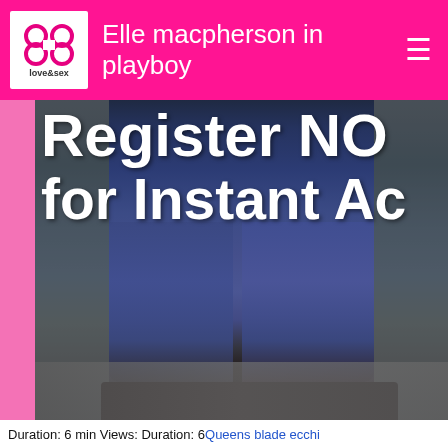Elle macpherson in playboy
[Figure (photo): Screenshot of a website header and banner. The header bar is hot pink with a love&sex logo on the left and the text 'Elle macpherson in playboy'. A large banner image shows legs in jeans and sandals walking on asphalt, with overlay text 'Register NO for Instant Ac' (truncated). Footer text reads 'Duration: 6 min Views: Duration: 6' followed by a link 'Queens blade ecchi'.]
Duration: 6 min Views: Duration: 6 Queens blade ecchi